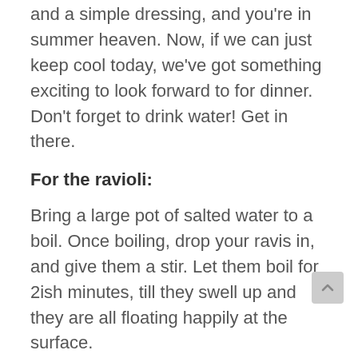and a simple dressing, and you're in summer heaven. Now, if we can just keep cool today, we've got something exciting to look forward to for dinner. Don't forget to drink water! Get in there.
For the ravioli:
Bring a large pot of salted water to a boil. Once boiling, drop your ravis in, and give them a stir. Let them boil for 2ish minutes, till they swell up and they are all floating happily at the surface.
While they cook, warm the zucchini + basil fondue in a large saucepan (or, you can just warm it in the pasta water pot once you